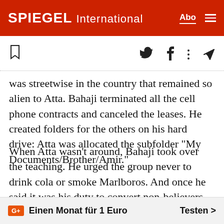SPIEGEL International
was streetwise in the country that remained so alien to Atta. Bahaji terminated all the cell phone contracts and canceled the leases. He created folders for the others on his hard drive: Atta was allocated the subfolder "My Documents/Brother/Amir."
When Atta wasn't around, Bahaji took over the teaching. He urged the group never to drink cola or smoke Marlboros. And once he said it was his duty to convert non-believers, if necessary by means of violence, even murder. One of the doubters in Atta's army objected that no on... God should kill another
G+ Einen Monat für 1 Euro   Testen >